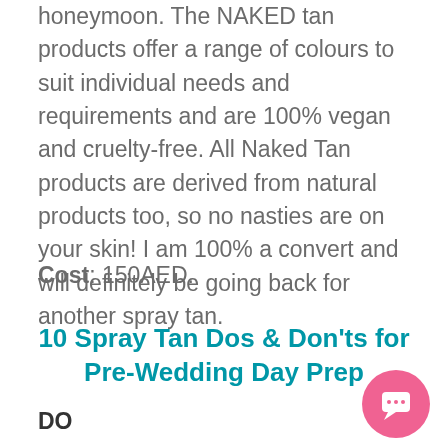honeymoon. The NAKED tan products offer a range of colours to suit individual needs and requirements and are 100% vegan and cruelty-free. All Naked Tan products are derived from natural products too, so no nasties are on your skin! I am 100% a convert and will definitely be going back for another spray tan.
Cost: 150AED.
10 Spray Tan Dos & Don'ts for Pre-Wedding Day Prep
DO